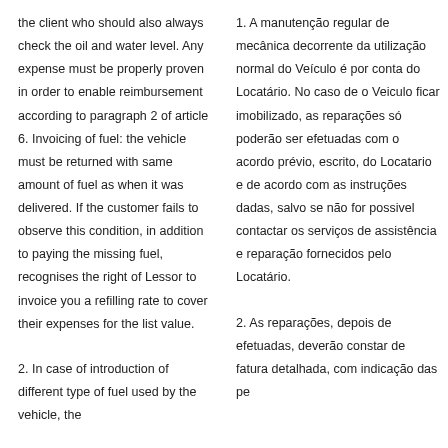the client who should also always check the oil and water level. Any expense must be properly proven in order to enable reimbursement according to paragraph 2 of article 6. Invoicing of fuel: the vehicle must be returned with same amount of fuel as when it was delivered. If the customer fails to observe this condition, in addition to paying the missing fuel, recognises the right of Lessor to invoice you a refilling rate to cover their expenses for the list value.
2. In case of introduction of different type of fuel used by the vehicle, the
1. A manutenção regular de mecânica decorrente da utilização normal do Veículo é por conta do Locatário. No caso de o Veiculo ficar imobilizado, as reparações só poderão ser efetuadas com o acordo prévio, escrito, do Locatário e de acordo com as instruções dadas, salvo se não for possivel contactar os serviços de assistência e reparação fornecidos pelo Locatário.
2. As reparações, depois de efetuadas, deverão constar de fatura detalhada, com indicação das pe